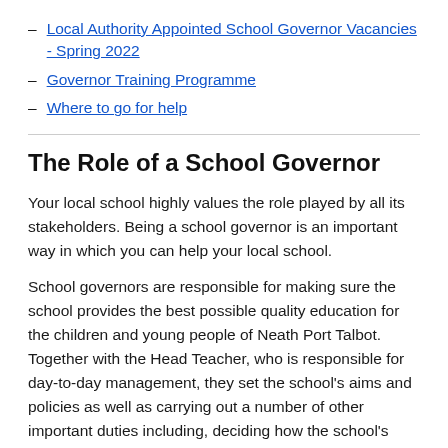Local Authority Appointed School Governor Vacancies - Spring 2022
Governor Training Programme
Where to go for help
The Role of a School Governor
Your local school highly values the role played by all its stakeholders. Being a school governor is an important way in which you can help your local school.
School governors are responsible for making sure the school provides the best possible quality education for the children and young people of Neath Port Talbot. Together with the Head Teacher, who is responsible for day-to-day management, they set the school's aims and policies as well as carrying out a number of other important duties including, deciding how the school's budget is spent, appointing and dismissing of staff, and forming policy on the